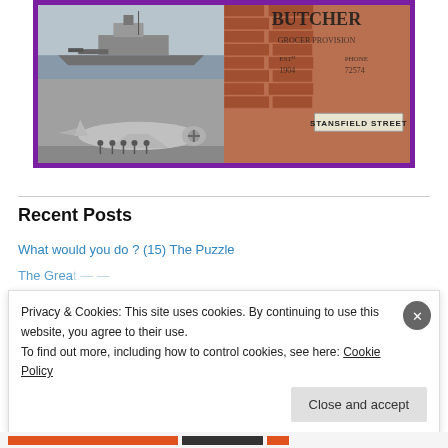[Figure (photo): Composite image with purple border: left side shows a black-and-white warship at sea (top) and a WWII bomber aircraft with crew on tarmac (bottom); right side shows a brick wall with faded painted text reading 'BUTCHER', with a 'STANSFIELD STREET' street sign.]
Recent Posts
What would you do ? (15) The Puzzle
Privacy & Cookies: This site uses cookies. By continuing to use this website, you agree to their use.
To find out more, including how to control cookies, see here: Cookie Policy